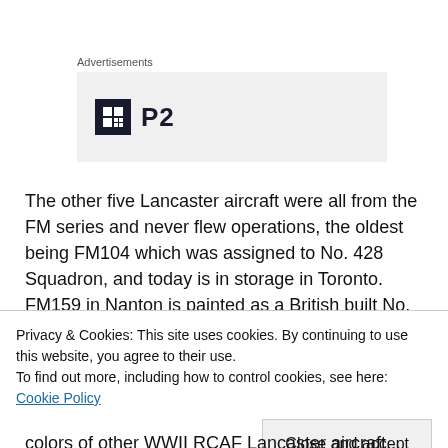Advertisements
[Figure (logo): Advertisement placeholder with P2 logo icon on grey background]
The other five Lancaster aircraft were all from the FM series and never flew operations, the oldest being FM104 which was assigned to No. 428 Squadron, and today is in storage in Toronto. FM159 in Nanton is painted as a British built No. 635 Squadron, ND811, RAF bomber, FM212 in Windsor,
Privacy & Cookies: This site uses cookies. By continuing to use this website, you agree to their use.
To find out more, including how to control cookies, see here: Cookie Policy
Close and accept
colors of other WWII RCAF Lancaster aircraft. Thanks to